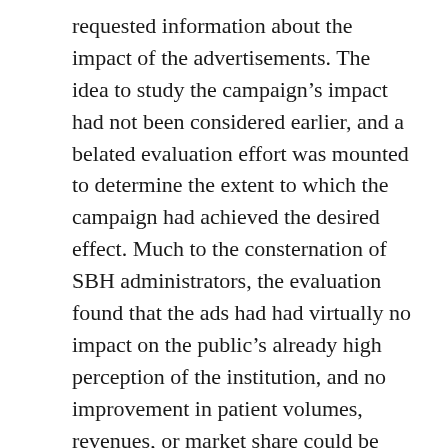requested information about the impact of the advertisements. The idea to study the campaign's impact had not been considered earlier, and a belated evaluation effort was mounted to determine the extent to which the campaign had achieved the desired effect. Much to the consternation of SBH administrators, the evaluation found that the ads had had virtually no impact on the public's already high perception of the institution, and no improvement in patient volumes, revenues, or market share could be attributed to the campaign. SBH administrators, committed to an expensive initiative, rationalized that the campaign had not aired long enough to generate the desired effect and invested even